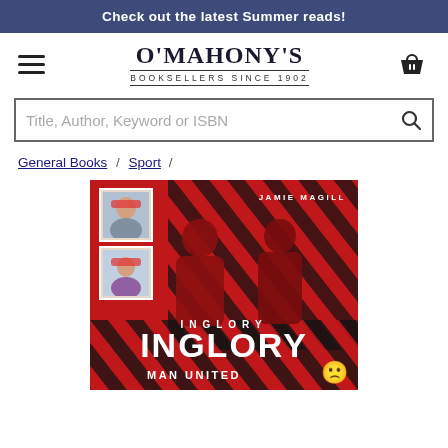Check out the latest Summer reads!
[Figure (logo): O'Mahony's Booksellers Since 1902 logo with hamburger menu and basket icon]
Title, Author, Keyword or ISBN
General Books / Sport /
[Figure (photo): Book cover: Inglory - Man United, by Jamie Magill. Red and black diagonal striped background with people on cover and two childhood photos top left.]